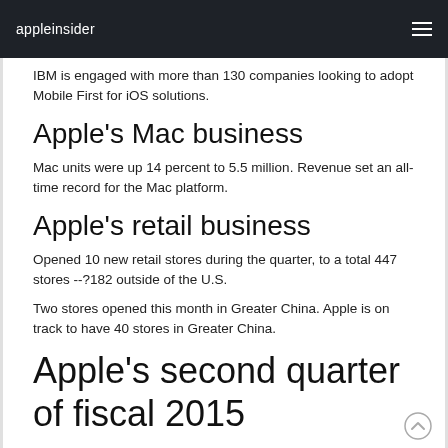appleinsider
IBM is engaged with more than 130 companies looking to adopt Mobile First for iOS solutions.
Apple's Mac business
Mac units were up 14 percent to 5.5 million. Revenue set an all-time record for the Mac platform.
Apple's retail business
Opened 10 new retail stores during the quarter, to a total 447 stores --?182 outside of the U.S.
Two stores opened this month in Greater China. Apple is on track to have 40 stores in Greater China.
Apple's second quarter of fiscal 2015